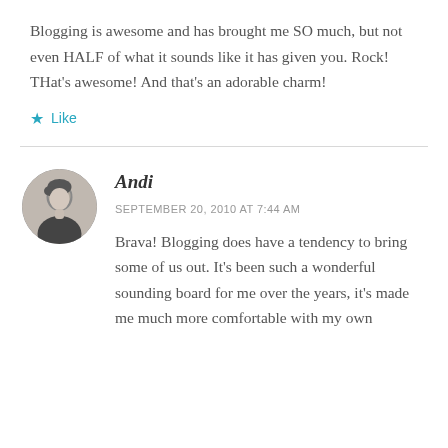Blogging is awesome and has brought me SO much, but not even HALF of what it sounds like it has given you. Rock! THat’s awesome! And that’s an adorable charm!
★ Like
Andi
SEPTEMBER 20, 2010 AT 7:44 AM
Brava! Blogging does have a tendency to bring some of us out. It’s been such a wonderful sounding board for me over the years, it’s made me much more comfortable with my own